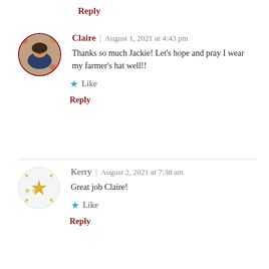Reply
Claire | August 1, 2021 at 4:43 pm
Thanks so much Jackie! Let's hope and pray I wear my farmer's hat well!!
Like
Reply
Kerry | August 2, 2021 at 7:38 am
Great job Claire!
Like
Reply